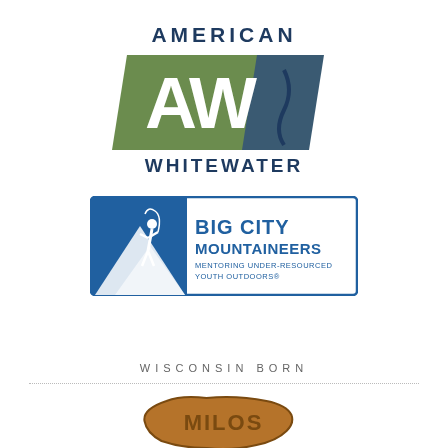[Figure (logo): American Whitewater logo with AW letters on green parallelogram shape with blue river element]
[Figure (logo): Big City Mountaineers logo with climber silhouette on blue mountain background and text: BIG CITY MOUNTAINEERS MENTORING UNDER-RESOURCED YOUTH OUTDOORS]
WISCONSIN BORN
[Figure (logo): Milos logo partially visible at bottom, brown/golden color with state shape]